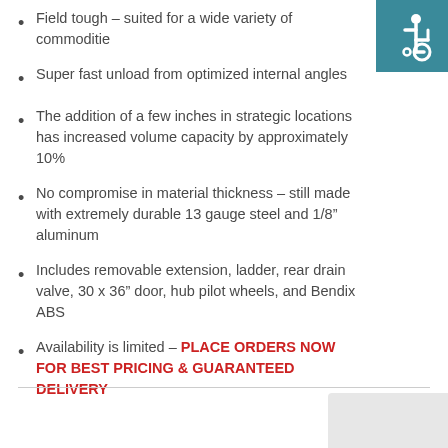[Figure (illustration): Accessibility icon (wheelchair symbol) in a teal/dark cyan square box in top-right corner]
Field tough – suited for a wide variety of commodities
Super fast unload from optimized internal angles
The addition of a few inches in strategic locations has increased volume capacity by approximately 10%
No compromise in material thickness – still made with extremely durable 13 gauge steel and 1/8" aluminum
Includes removable extension, ladder, rear drain valve, 30 x 36" door, hub pilot wheels, and Bendix ABS
Availability is limited – PLACE ORDERS NOW FOR BEST PRICING & GUARANTEED DELIVERY